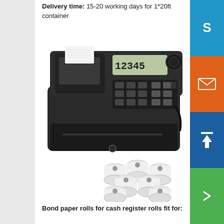Delivery time: 15-20 working days for 1*20ft container
[Figure (photo): A black Casio cash register with receipt printer and display showing 12345, alongside a stack of bond paper rolls for cash registers]
Bond paper rolls for cash register rolls fit for: